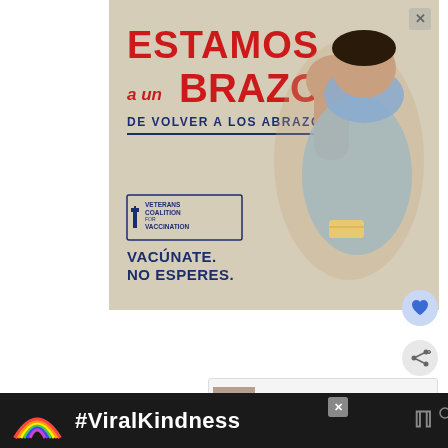[Figure (photo): Advertisement image: Spanish-language vaccination public service announcement featuring text 'ESTAMOS A UN BRAZO DE VOLVER A LOS ABRAZOS' (We are one arm away from returning to hugs) with Veterans Coalition for Vaccination logo, a person flexing their arm showing a vaccination bandage, and text 'VACÚNATE. NO ESPERES.' (Get vaccinated. Don't wait.)]
[Figure (infographic): Heart/like button icon in a blue circle on the right side]
[Figure (infographic): Share button icon in a grey circle on the right side]
[Figure (infographic): What's Next panel showing thumbnail of a woman and text '20 of The Best Hair Colors f...']
Wash and fully dry your beard before trying to
[Figure (infographic): Bottom dark advertisement bar with rainbow illustration, #ViralKindness hashtag in white text, and Wattpad logo]